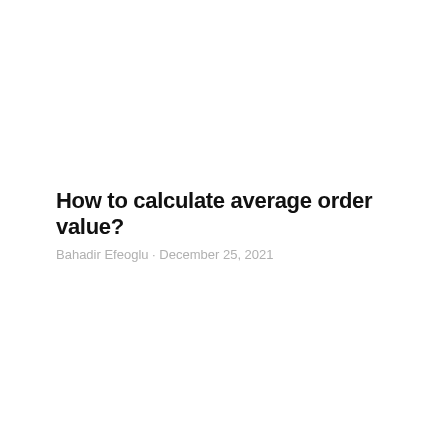How to calculate average order value?
Bahadir Efeoglu · December 25, 2021